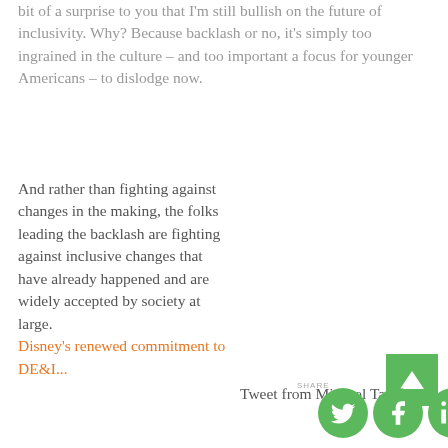bit of a surprise to you that I'm still bullish on the future of inclusivity. Why? Because backlash or no, it's simply too ingrained in the culture – and too important a focus for younger Americans – to dislodge now.
And rather than fighting against changes in the making, the folks leading the backlash are fighting against inclusive changes that have already happened and are widely accepted by society at large. Disney's renewed commitment to DE&I...
Tweet from Michael Tae
SHARE